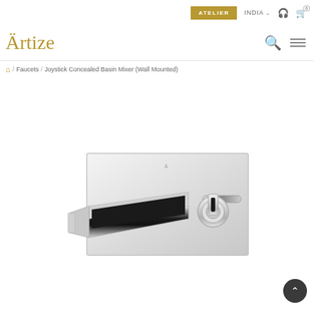ATELIER  INDIA  [headset icon]  [cart icon 0]
Artize
/ Faucets / Joystick Concealed Basin Mixer (Wall Mounted)
[Figure (photo): Chrome wall-mounted Joystick Concealed Basin Mixer with a rectangular backplate, angular spout, and single joystick handle control on white background]
^ (back to top button)